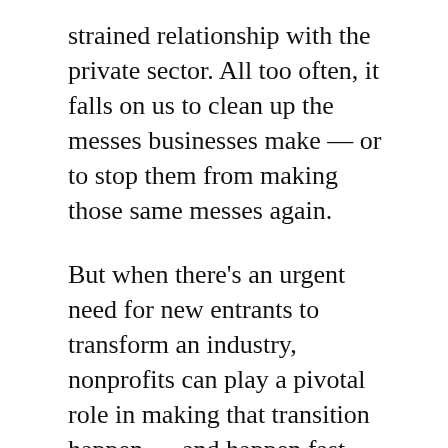strained relationship with the private sector. All too often, it falls on us to clean up the messes businesses make — or to stop them from making those same messes again.
But when there's an urgent need for new entrants to transform an industry, nonprofits can play a pivotal role in making that transition happen — and happen fast.
Consider the industry producing antiretroviral drugs (ARV) for HIV. When the lifesaving treatment was first invented, it was produced in small quantities and sold for $10,000 to $15,000